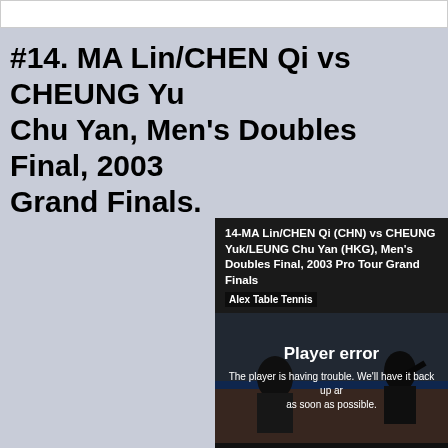#14. MA Lin/CHEN Qi vs CHEUNG Yuk/LEUNG Chu Yan, Men's Doubles Final, 2003 Pro Tour Grand Finals.
[Figure (screenshot): Embedded video player showing a table tennis match titled '14-MA Lin/CHEN Qi (CHN) vs CHEUNG Yuk/LEUNG Chu Yan (HKG), Men's Doubles Final, 2003 Pro Tour Grand Finals' by Alex Table Tennis, displaying a Player error message: 'The player is having trouble. We'll have it back up and running as soon as possible.']